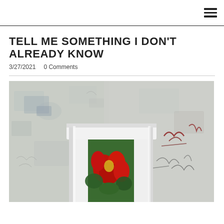TELL ME SOMETHING I DON'T ALREADY KNOW
3/27/2021   0 Comments
[Figure (photo): Abstract mixed-media painting showing a white arch/doorway structure with textured, layered background in pale blue-grey tones with scrawled markings; bright red floral elements visible through the arch opening]